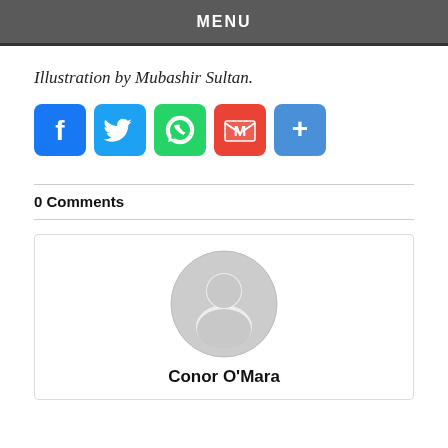MENU
Illustration by Mubashir Sultan.
[Figure (other): Social share buttons: Facebook, Twitter, WhatsApp, Gmail, More]
0 Comments
[Figure (other): User profile card with default avatar and name Conor O'Mara]